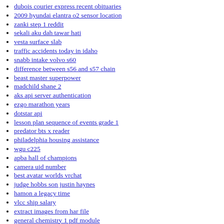dubois courier express recent obituaries
2009 hyundai elantra o2 sensor location
zanki step 1 reddit
sekali aku dah tawar hati
vesta surface slab
traffic accidents today in idaho
snabb intake volvo s60
difference between s56 and s57 chain
beast master superpower
madchild shane 2
aks api server authentication
ezgo marathon years
dotstar api
lesson plan sequence of events grade 1
predator bts x reader
philadelphia housing assistance
wgu c225
apba hall of champions
camera uid number
best avatar worlds vrchat
judge hobbs son justin haynes
hamon a legacy time
vlcc ship salary
extract images from har file
general chemistry 1 pdf module